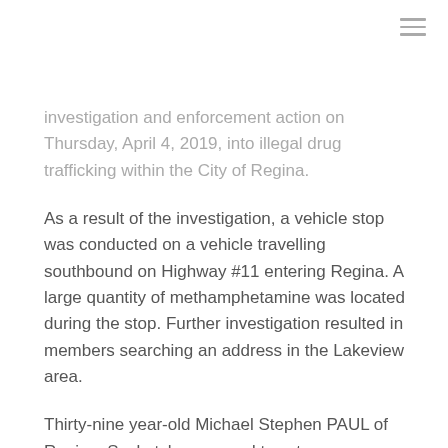≡
…investigation and enforcement action on Thursday, April 4, 2019, into illegal drug trafficking within the City of Regina.
As a result of the investigation, a vehicle stop was conducted on a vehicle travelling southbound on Highway #11 entering Regina. A large quantity of methamphetamine was located during the stop. Further investigation resulted in members searching an address in the Lakeview area.
Thirty-nine year-old Michael Stephen PAUL of Regina, Saskatchewan, and twenty-seven year-old Brianna WENINGER of Calgary, Alberta, are jointly charged with:
Possession for the purpose of trafficking